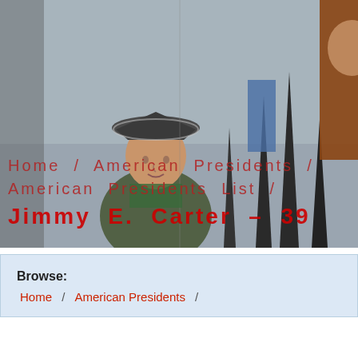[Figure (photo): A historical painting depicting a figure wearing a tricorn hat, appearing to be a scene with revolutionary war era soldiers or figures. The background shows a grayish sky and dark silhouettes. Red breadcrumb navigation text is overlaid on the lower portion of the image.]
Home / American Presidents / American Presidents List / Jimmy E. Carter – 39
Browse: Home / American Presidents /